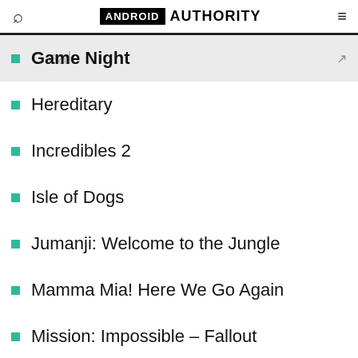ANDROID AUTHORITY
Game Night
Hereditary
Incredibles 2
Isle of Dogs
Jumanji: Welcome to the Jungle
Mamma Mia! Here We Go Again
Mission: Impossible – Fallout
Leave No Trace
Love, Simon
Paddington 2
A Quiet Place